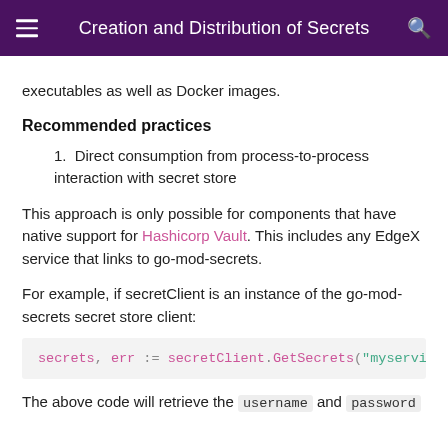Creation and Distribution of Secrets
executables as well as Docker images.
Recommended practices
1. Direct consumption from process-to-process interaction with secret store
This approach is only possible for components that have native support for Hashicorp Vault. This includes any EdgeX service that links to go-mod-secrets.
For example, if secretClient is an instance of the go-mod-secrets secret store client:
secrets, err := secretClient.GetSecrets("myservice", "
The above code will retrieve the username and password